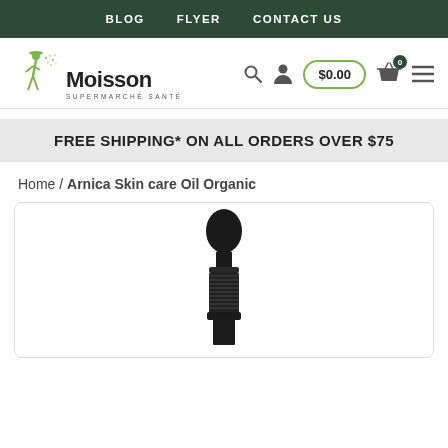BLOG   FLYER   CONTACT US
[Figure (logo): La Moisson Supermarché Santé logo with green figure and text, plus navigation icons including search, user, cart ($0.00), basket, and menu]
FREE SHIPPING* ON ALL ORDERS OVER $75
Home / Arnica Skin care Oil Organic
[Figure (photo): Close-up of a dark glass dropper bottle top with black cap, partially visible, on white background inside a rounded rectangle card]